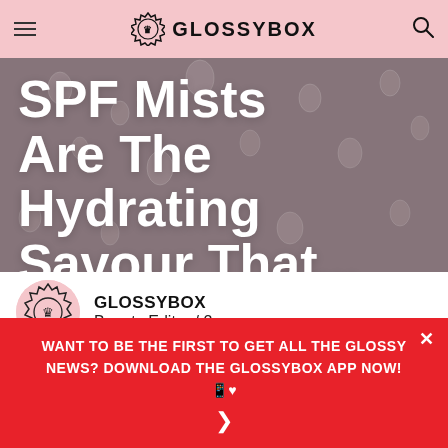GLOSSYBOX
SPF Mists Are The Hydrating Saviour That...
GLOSSYBOX
Beauty Editor / 2 years ago
Share this page
As beauty lovers, we all know that we should be using
WANT TO BE THE FIRST TO GET ALL THE GLOSSY NEWS? DOWNLOAD THE GLOSSYBOX APP NOW! 📱♥